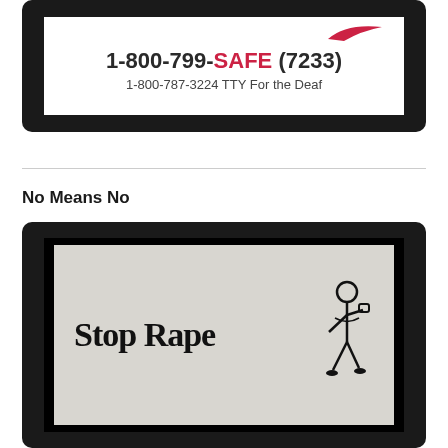[Figure (photo): A screenshot/image showing a domestic violence hotline number: 1-800-799-SAFE (7233) and 1-800-787-3224 TTY For the Deaf, displayed on a white background with a Nike-style swoosh logo, embedded in a dark/black rounded rectangle frame]
No Means No
[Figure (photo): A black-and-white photograph of graffiti on a wall reading 'Stop Rape' in large hand-drawn letters, with a small illustration of a child figure standing to the right, embedded in a dark/black rounded rectangle frame]